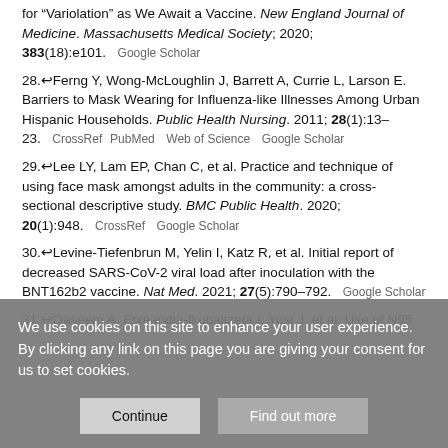for “Variolation” as We Await a Vaccine. New England Journal of Medicine. Massachusetts Medical Society; 2020; 383(18):e101. Google Scholar
28. Ferng Y, Wong-McLoughlin J, Barrett A, Currie L, Larson E. Barriers to Mask Wearing for Influenza-like Illnesses Among Urban Hispanic Households. Public Health Nursing. 2011; 28(1):13–23. CrossRef PubMed Web of Science Google Scholar
29. Lee LY, Lam EP, Chan C, et al. Practice and technique of using face mask amongst adults in the community: a cross-sectional descriptive study. BMC Public Health. 2020; 20(1):948. CrossRef Google Scholar
30. Levine-Tiefenbrun M, Yelin I, Katz R, et al. Initial report of decreased SARS-CoV-2 viral load after inoculation with the BNT162b2 vaccine. Nat Med. 2021; 27(5):790–792. Google Scholar
31. Qaseem A, Etxeandia-Ikobaltzeta I, Yost J, et al. Use of N95...
We use cookies on this site to enhance your user experience. By clicking any link on this page you are giving your consent for us to set cookies.